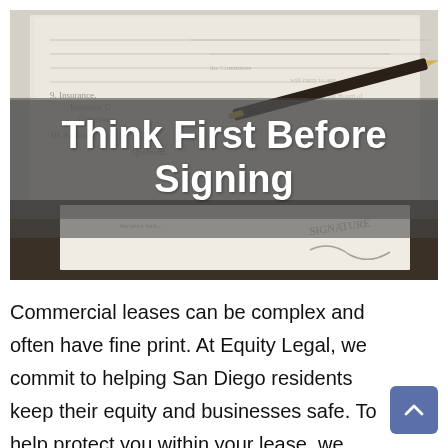[Figure (photo): Photo of a legal/contract document with a pen resting on it, showing signature area. A semi-transparent gray overlay contains the title text 'Think First Before Signing' in white bold letters.]
Think First Before Signing
Commercial leases can be complex and often have fine print. At Equity Legal, we commit to helping San Diego residents keep their equity and businesses safe. To help protect you within your lease, we have compiled a guide of some important factors